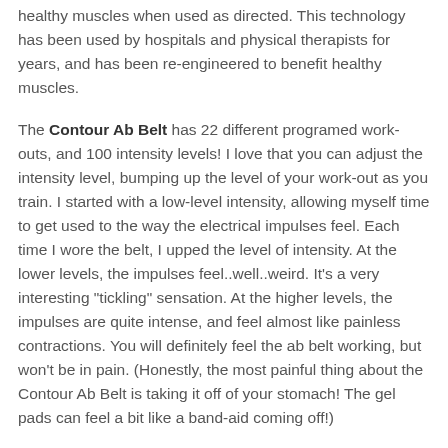healthy muscles when used as directed. This technology has been used by hospitals and physical therapists for years, and has been re-engineered to benefit healthy muscles.
The Contour Ab Belt has 22 different programed work-outs, and 100 intensity levels! I love that you can adjust the intensity level, bumping up the level of your work-out as you train. I started with a low-level intensity, allowing myself time to get used to the way the electrical impulses feel. Each time I wore the belt, I upped the level of intensity. At the lower levels, the impulses feel..well..weird. It's a very interesting "tickling" sensation. At the higher levels, the impulses are quite intense, and feel almost like painless contractions. You will definitely feel the ab belt working, but won't be in pain. (Honestly, the most painful thing about the Contour Ab Belt is taking it off of your stomach! The gel pads can feel a bit like a band-aid coming off!)